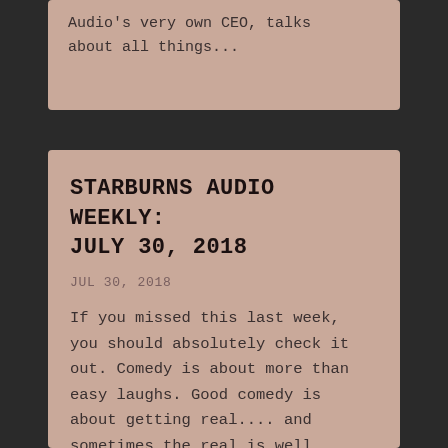Audio's very own CEO, talks about all things...
STARBURNS AUDIO WEEKLY: JULY 30, 2018
JUL 30, 2018
If you missed this last week, you should absolutely check it out. Comedy is about more than easy laughs. Good comedy is about getting real.... and sometimes the real is well, REAL. Our very own...